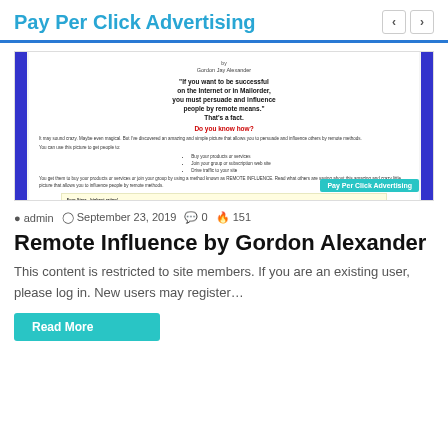Pay Per Click Advertising
[Figure (screenshot): Screenshot of a book/ebook page for 'Remote Influence by Gordon Alexander' showing a quote, body text, bullet list, and a testimonial box in yellow, with blue vertical bars on left and right, and a teal tooltip label 'Pay Per Click Advertising']
admin  September 23, 2019  0  151
Remote Influence by Gordon Alexander
This content is restricted to site members. If you are an existing user, please log in. New users may register…